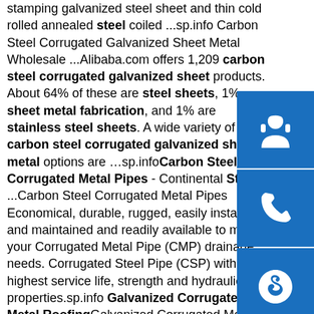stamping galvanized steel sheet and thin cold rolled annealed steel coiled ...sp.info Carbon Steel Corrugated Galvanized Sheet Metal Wholesale ...Alibaba.com offers 1,209 carbon steel corrugated galvanized sheet products. About 64% of these are steel sheets, 1% sheet metal fabrication, and 1% are stainless steel sheets. A wide variety of carbon steel corrugated galvanized sheet metal options are …sp.info Carbon Steel Corrugated Metal Pipes - Continental Steel ...Carbon Steel Corrugated Metal Pipes Economical, durable, rugged, easily installed and maintained and readily available to meet your Corrugated Metal Pipe (CMP) drainage needs. Corrugated Steel Pipe (CSP) with the highest service life, strength and hydraulic properties.sp.info Galvanized Corrugated Metal RoofingGalvanized Corrugated Metal is a plain carbon steel sheet coated in a galvanizing process that applies a barrier of zinc to insulate it from the elements. Most of the corrugated roofing and siding products seen today and for
[Figure (other): Three blue square buttons stacked vertically on the right side: headset/support icon, phone icon, Skype icon]